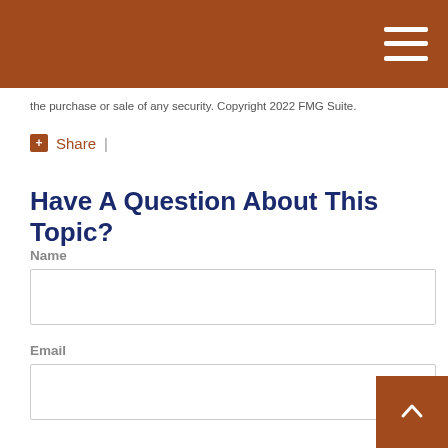the purchase or sale of any security. Copyright 2022 FMG Suite.
Share |
Have A Question About This Topic?
Name
Email